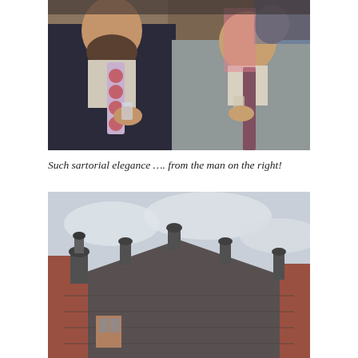[Figure (photo): Vintage photograph of two men in suits and ties at a social gathering, both holding drinks. The man on the left has a beard and a bold patterned tie. The man on the right is smiling and wearing a plain tie and grey suit.]
Such sartorial elegance …. from the man on the right!
[Figure (photo): Photograph of rooftops of brick buildings with distinctive Victorian-style chimneys and turrets against a cloudy sky.]